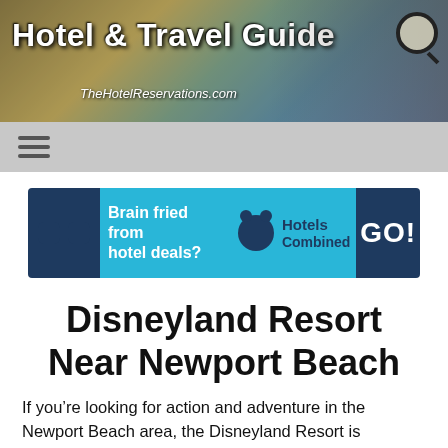[Figure (screenshot): Hotel & Travel Guide website banner with map background and three people (two men, one woman) on the right, TheHotelReservations.com subtitle, and a search icon]
Hotel & Travel Guide
TheHotelReservations.com
[Figure (screenshot): HotelsCombined advertisement banner: 'Brain fried from hotel deals?' with sunglasses logo on left, HotelsCombined bear logo in middle, GO! button on right]
Disneyland Resort Near Newport Beach
If you’re looking for action and adventure in the Newport Beach area, the Disneyland Resort is everything you need. Bigger and more magical than ever, the world famous